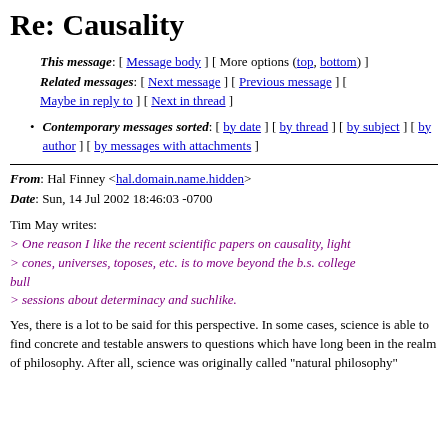Re: Causality
This message: [ Message body ] [ More options (top, bottom) ]
Related messages: [ Next message ] [ Previous message ] [ Maybe in reply to ] [ Next in thread ]
Contemporary messages sorted: [ by date ] [ by thread ] [ by subject ] [ by author ] [ by messages with attachments ]
From: Hal Finney <hal.domain.name.hidden>
Date: Sun, 14 Jul 2002 18:46:03 -0700
Tim May writes:
> One reason I like the recent scientific papers on causality, light cones, universes, toposes, etc. is to move beyond the b.s. college bull
> sessions about determinacy and suchlike.
Yes, there is a lot to be said for this perspective. In some cases, science is able to find concrete and testable answers to questions which have long been in the realm of philosophy. After all, science was originally called "natural philosophy"